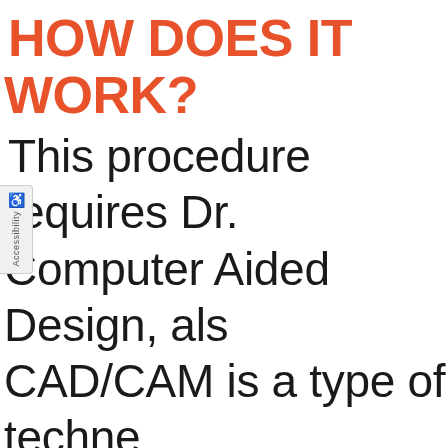HOW DOES IT WORK?
This procedure requires Dr. Computer Aided Design, als CAD/CAM is a type of techne incorporates a camera, milli computer into one piece of equipment, or camera, take damaged tooth. Once the p taken, it will display on a co